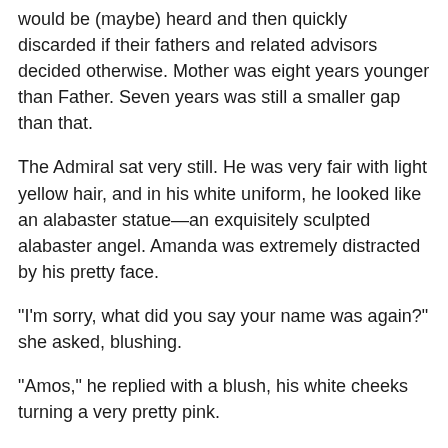would be (maybe) heard and then quickly discarded if their fathers and related advisors decided otherwise. Mother was eight years younger than Father. Seven years was still a smaller gap than that.
The Admiral sat very still. He was very fair with light yellow hair, and in his white uniform, he looked like an alabaster statue—an exquisitely sculpted alabaster angel. Amanda was extremely distracted by his pretty face.
“I’m sorry, what did you say your name was again?” she asked, blushing.
“Amos,” he replied with a blush, his white cheeks turning a very pretty pink.
“Where are you from?”
“From another country far from here.”
She thought about that. “Does that mean I have to follow you home if I marry you?”